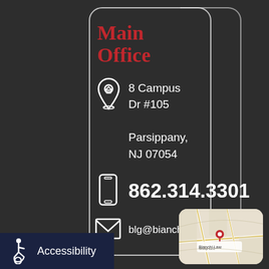Main Office
8 Campus Dr #105
Parsippany, NJ 07054
862.314.3301
blg@bianchilawgroup.com
[Figure (map): Google Maps thumbnail showing location of Bianchi Law Group LLC at 8 Campus Dr, Parsippany NJ]
Accessibility